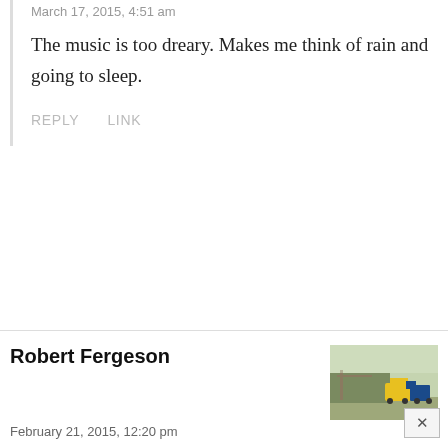March 17, 2015, 4:51 am
The music is too dreary. Makes me think of rain and going to sleep.
REPLY   LINK
Robert Fergeson
[Figure (photo): Outdoor scene with construction equipment and vehicles in a field]
February 21, 2015, 12:20 pm
Your last build on a 30 foot flat triple axle had a split AC unit on the one end. We just put a split unit AC/heat pump combo good to -17 deg. in my son’s apartment. With a unit like that the wood stove, though it looks
great, would not be needed. You said speeds traveled on delivery were 45-50mph, are these tiny home, not